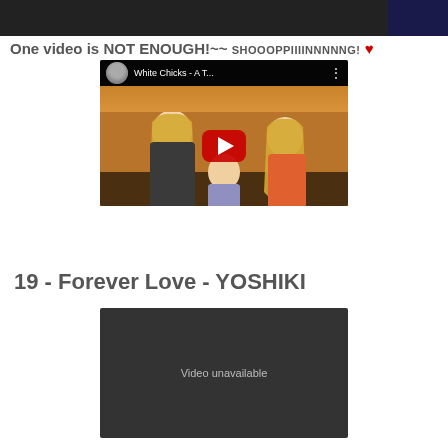[Figure (screenshot): Top cropped image showing a dark background with a person in a suit on the right side]
One video is NOT ENOUGH!~~ SHOOOPPIIIINNNNNG! ♥
[Figure (screenshot): YouTube embedded video thumbnail showing 'White Chicks - A T...' with two blonde women and a YouTube play button overlay, with a channel avatar of a masked figure]
19 - Forever Love - YOSHIKI
[Figure (screenshot): Embedded video showing 'Video unavailable' message on dark background]